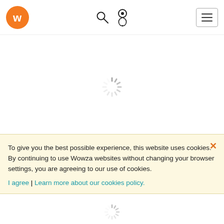[Figure (logo): Wowza orange circular logo with white 'w' letter]
[Figure (screenshot): Header navigation icons: search magnifier and user/location pin icon]
[Figure (screenshot): Hamburger menu button (three horizontal lines) in a rounded rectangle border]
[Figure (illustration): Loading spinner (circular dashed spokes) centered on page]
IP Camera Streaming
To give you the best possible experience, this website uses cookies. By continuing to use Wowza websites without changing your browser settings, you are agreeing to our use of cookies.
I agree | Learn more about our cookies policy.
Learn More
[Figure (illustration): Loading spinner (circular dashed spokes) at bottom of page]